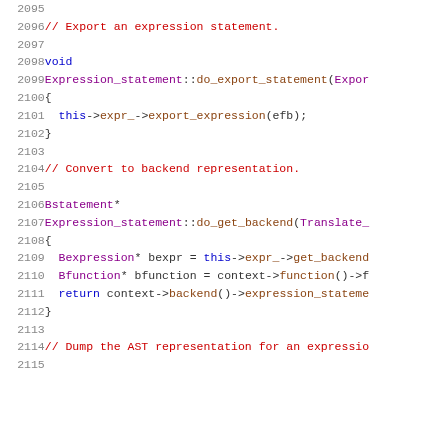Code listing lines 2095-2115, C++ source code showing Expression_statement methods: do_export_statement and do_get_backend, and a comment about Dump the AST representation for an expression.